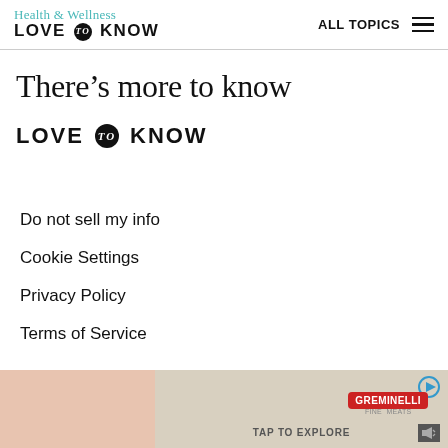Health & Wellness LOVE to KNOW — ALL TOPICS
There’s more to know
[Figure (logo): LoveToKnow logo — large bold uppercase text LOVE to KNOW with circular 'to' badge]
Do not sell my info
Cookie Settings
Privacy Policy
Terms of Service
© 2002-2022 LoveToKnow Media. All rights reserved.
[Figure (photo): Advertisement bar at bottom showing skin-toned background on left, Greminelli brand with play button on right]